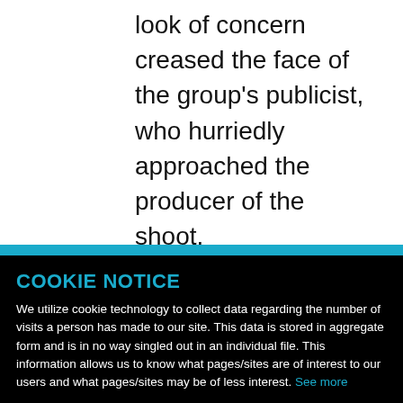look of concern creased the face of the group's publicist, who hurriedly approached the producer of the shoot.
COOKIE NOTICE
We utilize cookie technology to collect data regarding the number of visits a person has made to our site. This data is stored in aggregate form and is in no way singled out in an individual file. This information allows us to know what pages/sites are of interest to our users and what pages/sites may be of less interest. See more